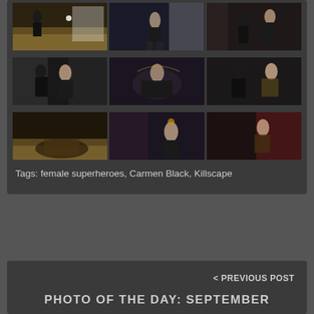[Figure (photo): Three action/combat scene photos in a row — indoor studio setting with wooden floor and black-clad figures]
[Figure (photo): Three action/combat scene photos in a row — dark studio setting with fighting figures]
[Figure (photo): Three action/combat scene photos in a row — figures in combat poses, one scene with red curtain background]
Tags: female superheroes, Carmen Black, Killscape
< PREVIOUS POST
PHOTO OF THE DAY: SEPTEMBER